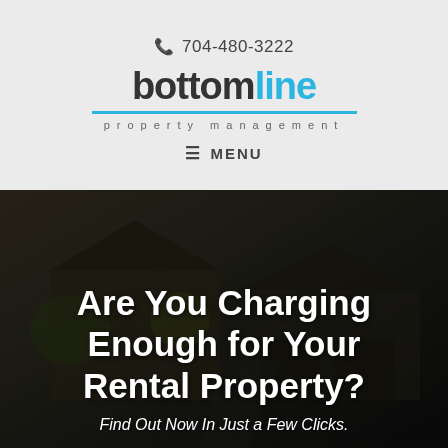704-480-3222
[Figure (logo): Bottomline Property Management logo with blue and dark grey text and blue horizontal rule]
≡ MENU
Are You Charging Enough for Your Rental Property?
Find Out Now In Just a Few Clicks.